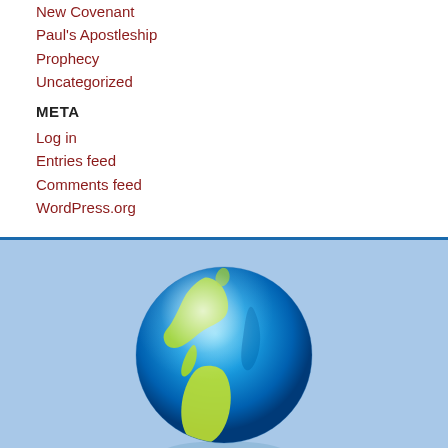New Covenant
Paul's Apostleship
Prophecy
Uncategorized
META
Log in
Entries feed
Comments feed
WordPress.org
[Figure (illustration): A shiny 3D globe showing the Americas in green/yellow on a blue ocean, with a light reflection highlight, set against a light blue background with a subtle shadow beneath]